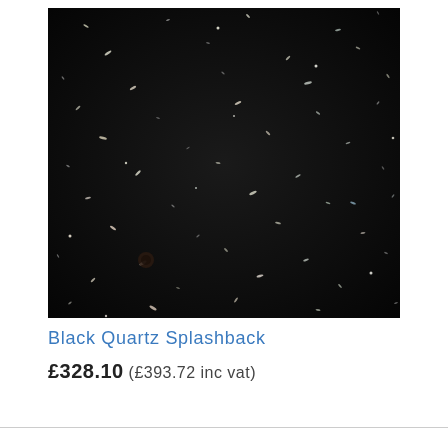[Figure (photo): Close-up photograph of black quartz material with sparkling silver and white mineral flecks scattered across a dark near-black surface, resembling a starry night sky texture.]
Black Quartz Splashback
£328.10 (£393.72 inc vat)